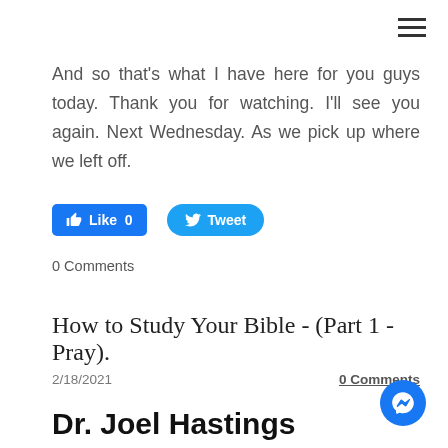And so that's what I have here for you guys today. Thank you for watching. I'll see you again. Next Wednesday. As we pick up where we left off.
[Figure (other): Social media buttons: Facebook Like (count 0) and Twitter Tweet buttons]
0 Comments
How to Study Your Bible - (Part 1 - Pray).
2/18/2021
0 Comments
Dr. Joel Hastings
Pastor Joel has been serving as the lead pastor of Community Bible Church since August off 2018